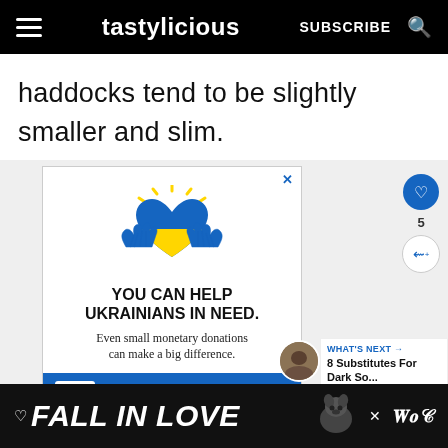tastylicious  SUBSCRIBE
haddocks tend to be slightly smaller and slim.
[Figure (infographic): Ad: Ukraine charity — hands holding a blue and yellow heart with rays. Text: YOU CAN HELP UKRAINIANS IN NEED. Even small monetary donations can make a big difference. DONATE TODAY. Ad Council badge.]
[Figure (infographic): Bottom banner ad: FALL IN LOVE with dog image and Wondery logo]